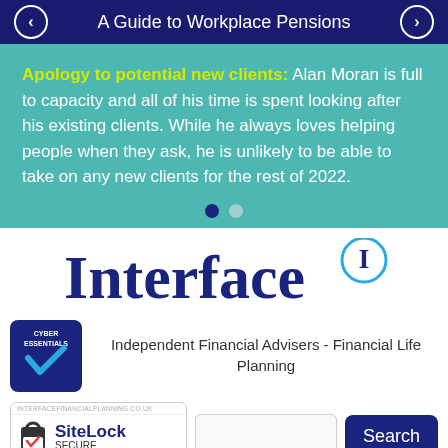A Guide to Workplace Pensions
Apology to potential new clients: Alan Moran is full to capacity and all of his time is spent looking after his existing clients. While he always loves helping people when they ask, he is unlikely to be able to take on any new clients for the rest of 2022.
[Figure (logo): Interface Financial Planning logo with circle I badge]
Independent Financial Advisers - Financial Life Planning
[Figure (logo): Cyber Essentials badge with blue background and checkmark]
[Figure (logo): SiteLock SECURE badge - Passed 02-Sep-2022 - interfacefinancialplanning.co.uk]